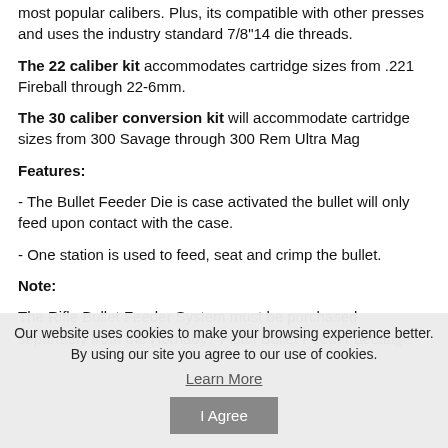most popular calibers. Plus, its compatible with other presses and uses the industry standard 7/8"14 die threads.
The 22 caliber kit accommodates cartridge sizes from .221 Fireball through 22-6mm.
The 30 caliber conversion kit will accommodate cartridge sizes from 300 Savage through 300 Rem Ultra Mag
Features:
- The Bullet Feeder Die is case activated the bullet will only feed upon contact with the case.
- One station is used to feed, seat and crimp the bullet.
Note:
The Rifle Bullet Feeder System must be purchased separately from the Hornady? Pistol Bullet Feeder because
Our website uses cookies to make your browsing experience better. By using our site you agree to our use of cookies.
Learn More
I Agree